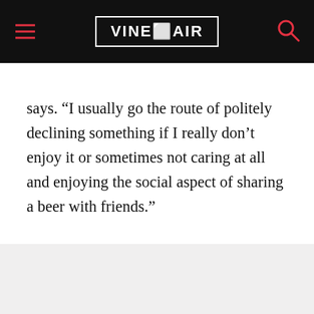VINEPAIR
says. “I usually go the route of politely declining something if I really don’t enjoy it or sometimes not caring at all and enjoying the social aspect of sharing a beer with friends.”